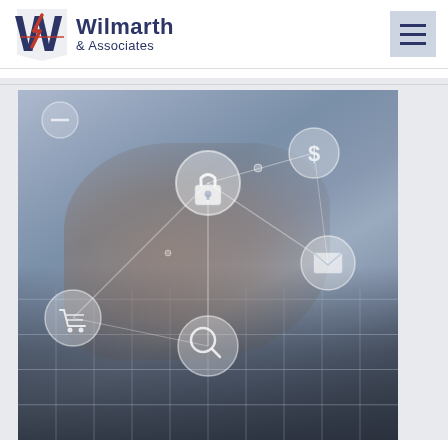[Figure (logo): Wilmarth & Associates company logo with stylized W in red, white and blue with lightning bolt accent, and company name in navy blue]
[Figure (other): Navigation hamburger menu button (three horizontal lines) on light blue-gray background]
[Figure (photo): Hero image showing hands using a laptop keyboard with a stylus/pen, overlaid with digital security icons including a padlock, dollar sign, email envelope, shopping cart, and search magnifying glass connected by network lines, in blue-gray tones suggesting cybersecurity or digital finance theme]